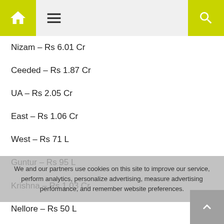Home | Menu | Search
Nizam – Rs 6.01 Cr
Ceeded – Rs 1.87 Cr
UA – Rs 2.05 Cr
East – Rs 1.06 Cr
West – Rs 71 L
Guntur – Rs 95 L
Krishna – Rs 1.03 Cr
Nellore – Rs 50 L
Andhra Pradesh and Telangana Share: Rs 14.18 Cr ( Rs 24.71 Cr Gross)
We and our partners use cookies on this site to improve our service, performance analytics, personalize advertising, measure advertising performance, and remember website preferences.